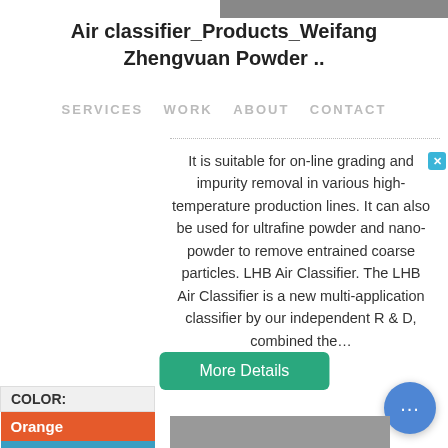[Figure (photo): Top partial product image strip]
Air classifier_Products_Weifang Zhengvuan Powder .
SERVICES   WORK   ABOUT   CONTACT
It is suitable for on-line grading and impurity removal in various high-temperature production lines. It can also be used for ultrafine powder and nano-powder to remove entrained coarse particles. LHB Air Classifier. The LHB Air Classifier is a new multi-application classifier by our independent R & D, combined the...
[Figure (other): More Details green button]
| COLOR: |
| --- |
| Orange |
| Blue |
| Yellow |
[Figure (photo): Bottom partial product image strip]